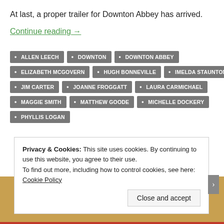At last, a proper trailer for Downton Abbey has arrived.
Continue reading →
ALLEN LEECH
DOWNTON
DOWNTON ABBEY
ELIZABETH MCGOVERN
HUGH BONNEVILLE
IMELDA STAUNTON
JIM CARTER
JOANNE FROGGATT
LAURA CARMICHAEL
MAGGIE SMITH
MATTHEW GOODE
MICHELLE DOCKERY
PHYLLIS LOGAN
[Figure (photo): Partial photo visible at bottom of page behind cookie banner]
Privacy & Cookies: This site uses cookies. By continuing to use this website, you agree to their use.
To find out more, including how to control cookies, see here: Cookie Policy
Close and accept